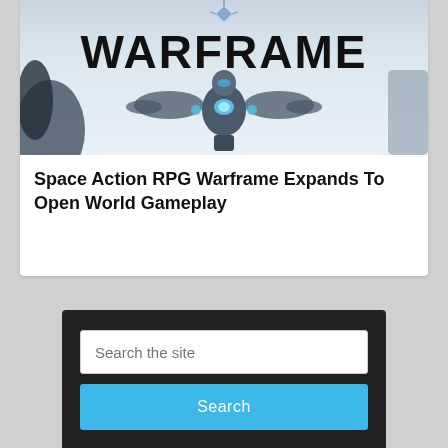[Figure (screenshot): Warframe game logo and character artwork — a sci-fi armored figure with glowing blue accents against a misty blue-grey background, with 'WARFRAME' text logo prominently displayed]
Space Action RPG Warframe Expands To Open World Gameplay
[Figure (screenshot): Search widget with a text input field labeled 'Search the site' and a blue 'Search' button below it, on a dark background]